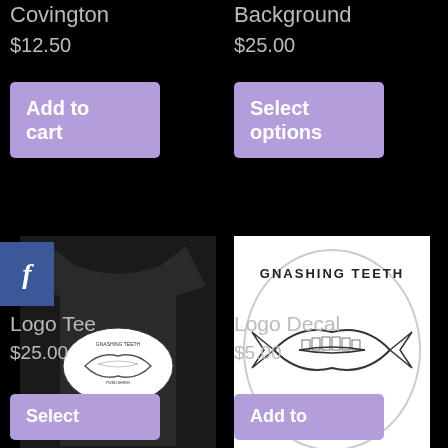Covington
$12.50
Add to cart
Background
$25.00
Select options
[Figure (photo): Black t-shirt with Gnashing Teeth Publishing logo on front]
[Figure (logo): Gnashing Teeth Publishing oval logo decal with fish and teeth design]
Logo Tee
$25.00
Select
Logo Decal
$5.00
Add to